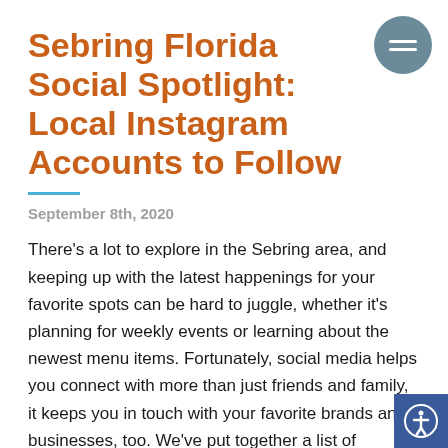Sebring Florida Social Spotlight: Local Instagram Accounts to Follow
September 8th, 2020
There's a lot to explore in the Sebring area, and keeping up with the latest happenings for your favorite spots can be hard to juggle, whether it's planning for weekly events or learning about the newest menu items. Fortunately, social media helps you connect with more than just friends and family, it keeps you in touch with your favorite brands and businesses, too. We've put together a list of